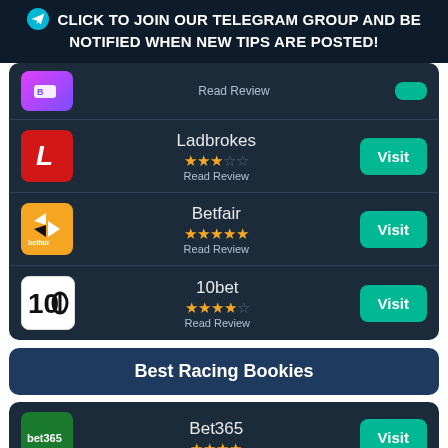CLICK TO JOIN OUR TELEGRAM GROUP AND BE NOTIFIED WHEN NEW TIPS ARE POSTED!
[Figure (infographic): Bookie listing card with partial top entry (logo cut off), Ladbrokes 3 stars, Betfair 5 stars, 10bet 4.5 stars, each with Visit button]
Best Racing Bookies
[Figure (infographic): Partial bookie row showing Bet365 logo and name with Visit button, stars partially visible]